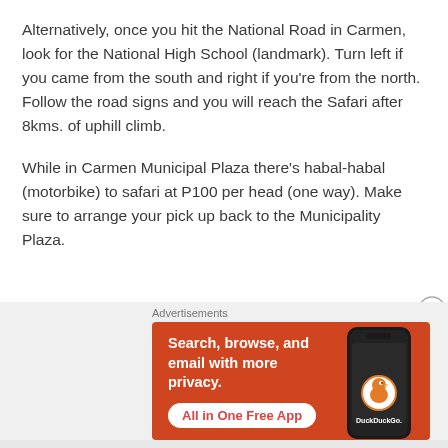Alternatively, once you hit the National Road in Carmen, look for the National High School (landmark). Turn left if you came from the south and right if you're from the north. Follow the road signs and you will reach the Safari after 8kms. of uphill climb.
While in Carmen Municipal Plaza there's habal-habal (motorbike) to safari at P100 per head (one way). Make sure to arrange your pick up back to the Municipality Plaza.
[Figure (other): DuckDuckGo advertisement banner with orange background, showing text 'Search, browse, and email with more privacy. All in One Free App' and a phone image with DuckDuckGo logo]